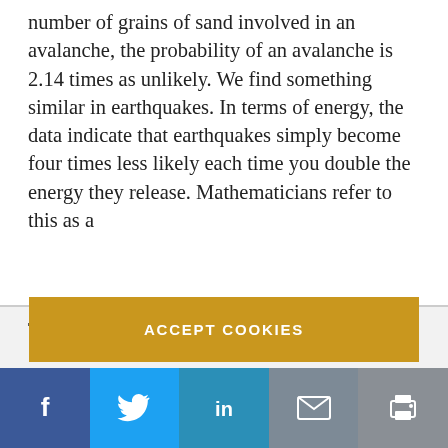number of grains of sand involved in an avalanche, the probability of an avalanche is 2.14 times as unlikely. We find something similar in earthquakes. In terms of energy, the data indicate that earthquakes simply become four times less likely each time you double the energy they release. Mathematicians refer to this as a
This website uses cookies
This website intends to use cookies to improve the site and your experience. By continuing to browse the site, you are agreeing to accept our use of cookies. If you require further information and/or do not wish to have cookies captured when using the site, visit our Privacy Policy.
ACCEPT COOKIES
[Figure (infographic): Social media sharing bar with Facebook, Twitter, LinkedIn, Email, and Print icons]